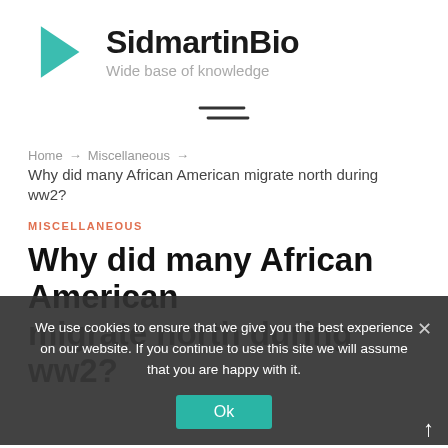[Figure (logo): SidmartinBio logo: teal left-pointing triangle icon with bold text 'SidmartinBio' and tagline 'Wide base of knowledge']
[Figure (other): Hamburger/menu icon (two horizontal lines, slightly offset)]
Home → Miscellaneous → Why did many African American migrate north during ww2?
MISCELLANEOUS
Why did many African American migrate north during ww2?
We use cookies to ensure that we give you the best experience on our website. If you continue to use this site we will assume that you are happy with it.